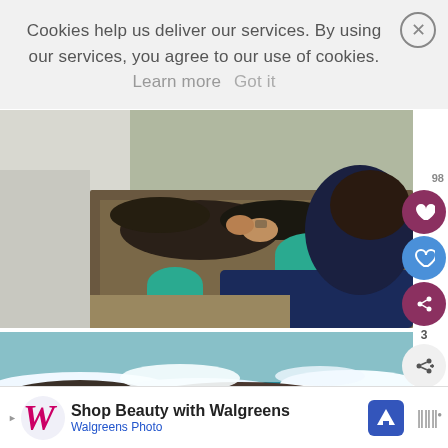Cookies help us deliver our services. By using our services, you agree to our use of cookies. Learn more  Got it
[Figure (photo): Overhead view of two people sorting/handling shellfish or mussels in buckets and containers on a boat deck]
[Figure (photo): Ocean waves crashing over dark rocky coastal rocks with turquoise water]
WHAT'S NEXT → Chicken Pulao
[Figure (infographic): Advertisement: Shop Beauty with Walgreens, Walgreens Photo, with logo and navigation icon]